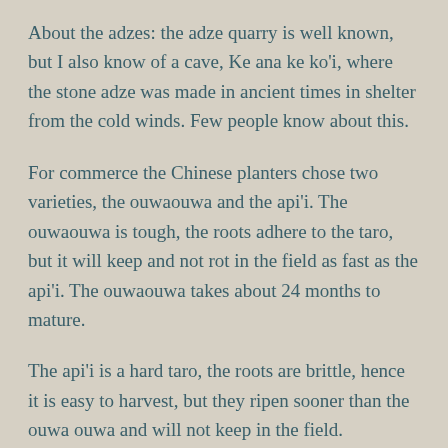About the adzes: the adze quarry is well known, but I also know of a cave, Ke ana ke ko'i, where the stone adze was made in ancient times in shelter from the cold winds. Few people know about this.
For commerce the Chinese planters chose two varieties, the ouwaouwa and the api'i. The ouwaouwa is tough, the roots adhere to the taro, but it will keep and not rot in the field as fast as the api'i. The ouwaouwa takes about 24 months to mature.
The api'i is a hard taro, the roots are brittle, hence it is easy to harvest, but they ripen sooner than the ouwa ouwa and will not keep in the field.
Taro was planted continually so that some would always be ready throughout the year. To prepare a taro patch for